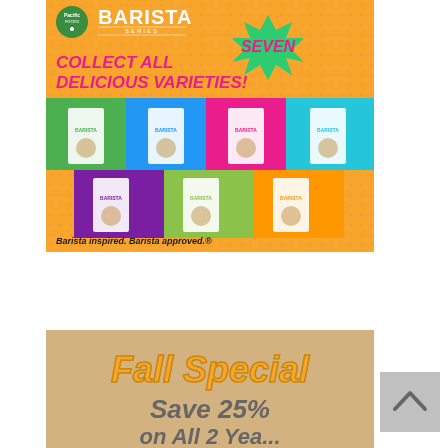[Figure (illustration): Pacific Foods Barista Series advertisement showing 'Collect All Seven Delicious Varieties!' with product images on colorful background. Tagline: 'Barista inspired. Barista approved.']
[Figure (illustration): Fall Special advertisement showing 'Save 25% on All 2 Year...' text in yellow/gold on tan/burlap background]